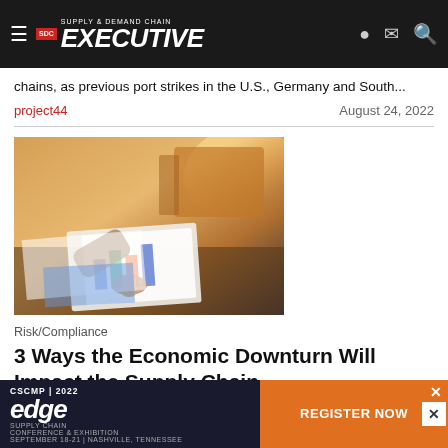Supply & Demand Chain Executive
chains, as previous port strikes in the U.S., Germany and South...
project44    August 24, 2022
[Figure (photo): Person pointing at charts/documents on a desk, with cardboard boxes in background, warm golden lighting]
Risk/Compliance
3 Ways the Economic Downturn Will Impact the Supply Chain
How will the economic downturn affect the supply chain? And how do...
[Figure (other): CSCMP 2022 Edge Supply Chain Conference & Exhibition advertisement banner with Register Now call to action]